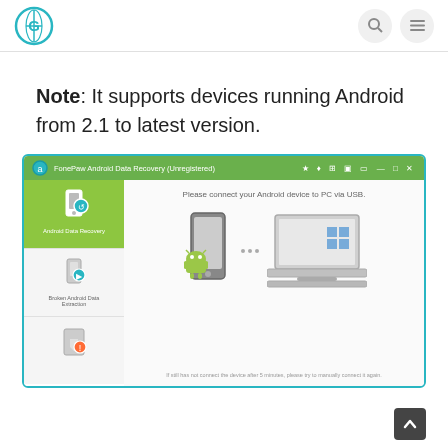Website header with logo and navigation icons
Note: It supports devices running Android from 2.1 to latest version.
[Figure (screenshot): Screenshot of FonePaw Android Data Recovery (Unregistered) software showing the main interface with sidebar options (Android Data Recovery, Broken Android Data Extraction, and another option) and main area with message 'Please connect your Android device to PC via USB.' showing a phone and laptop illustration connected with dots.]